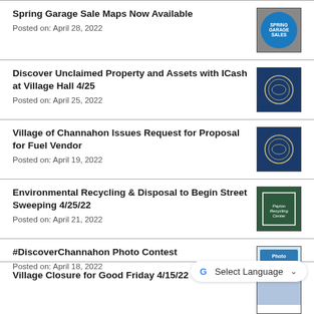Spring Garage Sale Maps Now Available
Posted on: April 28, 2022
Discover Unclaimed Property and Assets with ICash at Village Hall 4/25
Posted on: April 25, 2022
Village of Channahon Issues Request for Proposal for Fuel Vendor
Posted on: April 19, 2022
Environmental Recycling & Disposal to Begin Street Sweeping 4/25/22
Posted on: April 21, 2022
#DiscoverChannahon Photo Contest
Posted on: April 18, 2022
Village Closure for Good Friday 4/15/22